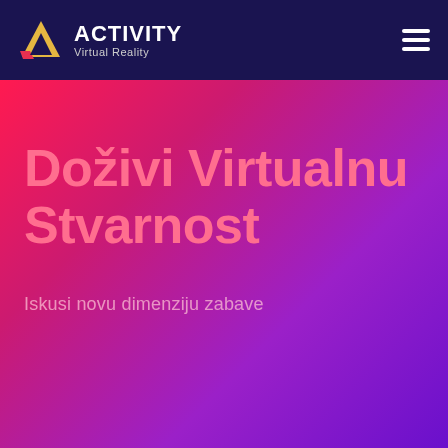ACTIVITY Virtual Reality
Doživi Virtualnu Stvarnost
Iskusi novu dimenziju zabave